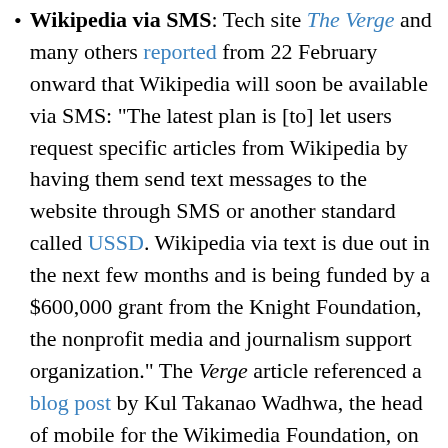Wikipedia via SMS: Tech site The Verge and many others reported from 22 February onward that Wikipedia will soon be available via SMS: "The latest plan is [to] let users request specific articles from Wikipedia by having them send text messages to the website through SMS or another standard called USSD. Wikipedia via text is due out in the next few months and is being funded by a $600,000 grant from the Knight Foundation, the nonprofit media and journalism support organization." The Verge article referenced a blog post by Kul Takanao Wadhwa, the head of mobile for the Wikimedia Foundation, on the Knight Foundation website.